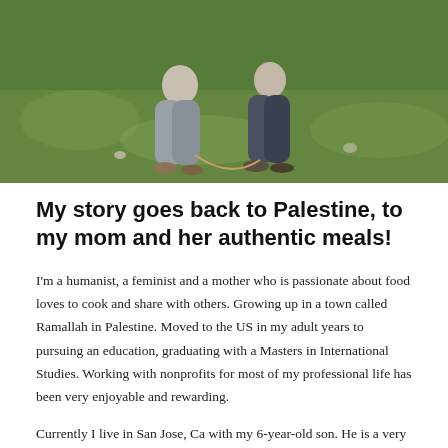[Figure (photo): Two people crouching outdoors on grass, photographed from below the waist. One person wearing grey pants and sandals, another in dark pants. Green grass and outdoor background visible.]
My story goes back to Palestine, to my mom and her authentic meals!
I'm a humanist, a feminist and a mother who is passionate about food loves to cook and share with others. Growing up in a town called Ramallah in Palestine. Moved to the US in my adult years to pursuing an education, graduating with a Masters in International Studies. Working with nonprofits for most of my professional life has been very enjoyable and rewarding.
Currently I live in San Jose, Ca with my 6-year-old son. He is a very selective eater and loves to crunch on carrots and radishes. His